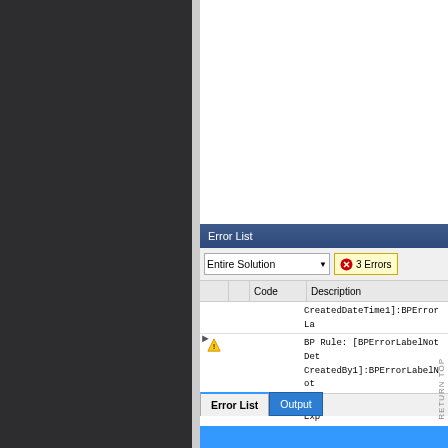[Figure (screenshot): Visual Studio Error List panel showing 3 errors/warnings. The panel has a dark sidebar on the left, a white code editor area at top right, and an Error List tool window at the bottom showing warning entries including BPErrorLabel and Assembly reference warnings for Microsoft.Xbox.Express and System.Xml. Tabs at bottom show 'Error List' and 'Output'.]